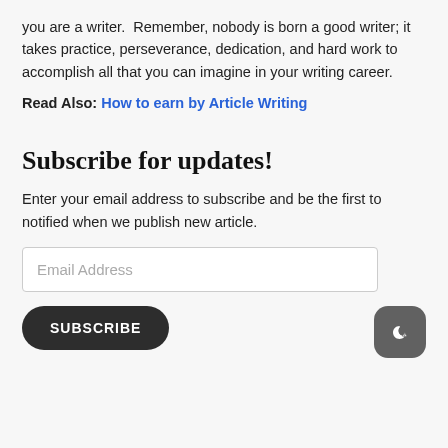you are a writer. Remember, nobody is born a good writer; it takes practice, perseverance, dedication, and hard work to accomplish all that you can imagine in your writing career.
Read Also: How to earn by Article Writing
Subscribe for updates!
Enter your email address to subscribe and be the first to notified when we publish new article.
[Figure (other): Email address input field with placeholder text 'Email Address']
[Figure (other): Subscribe button (dark rounded) and dark mode toggle icon in bottom right]